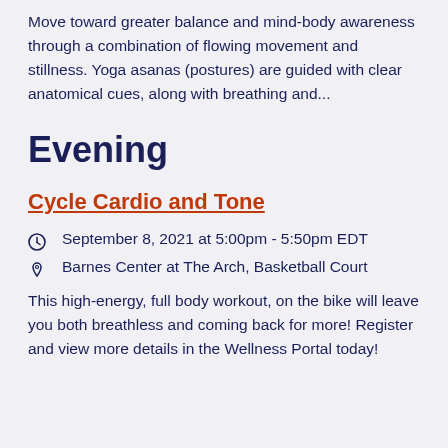Move toward greater balance and mind-body awareness through a combination of flowing movement and stillness. Yoga asanas (postures) are guided with clear anatomical cues, along with breathing and...
Evening
Cycle Cardio and Tone
September 8, 2021 at 5:00pm - 5:50pm EDT
Barnes Center at The Arch, Basketball Court
This high-energy, full body workout, on the bike will leave you both breathless and coming back for more! Register and view more details in the Wellness Portal today!